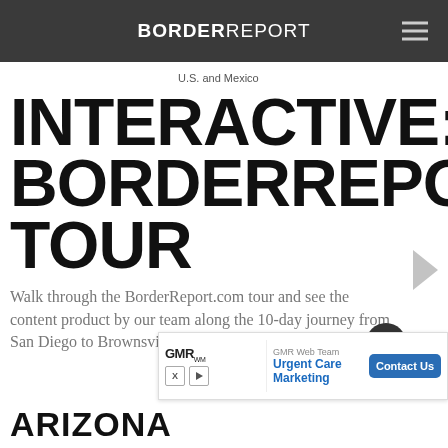BORDERREPORT
U.S. and Mexico
INTERACTIVE: BORDERREPORT.COM TOUR
Walk through the BorderReport.com tour and see the content product by our team along the 10-day journey from San Diego to Brownsville.
[Figure (infographic): GMR Web Team advertisement banner with Contact Us button for Urgent Care Marketing]
ARIZONA